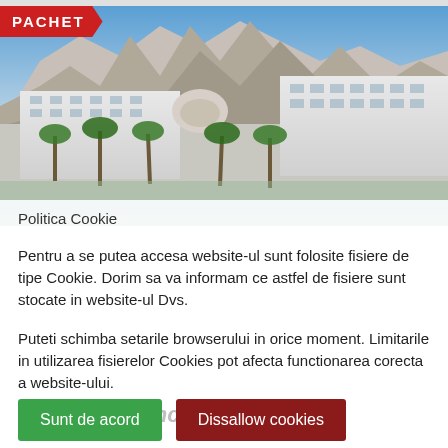[Figure (photo): Hotel building with mountains in background, palm trees in foreground, PACHET badge in top left corner]
Politica Cookie
Pentru a se putea accesa website-ul sunt folosite fisiere de tipe Cookie. Dorim sa va informam ce astfel de fisiere sunt stocate in website-ul Dvs.
Puteti schimba setarile browserului in orice moment. Limitarile in utilizarea fisierelor Cookies pot afecta functionarea corecta a website-ului.
Fame Residence Göynük
Sunt de acord
Dissallow cookies